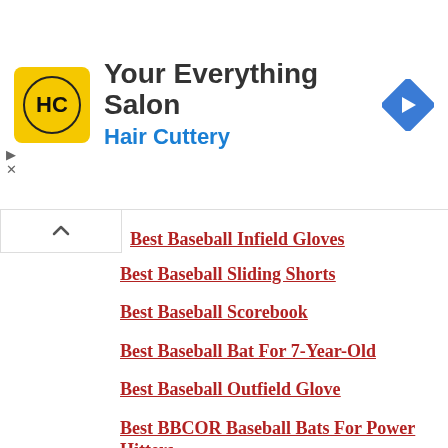[Figure (other): Hair Cuttery advertisement banner with yellow HC logo, text 'Your Everything Salon / Hair Cuttery', and blue navigation arrow icon]
Best Baseball Infield Gloves
Best Baseball Sliding Shorts
Best Baseball Scorebook
Best Baseball Bat For 7-Year-Old
Best Baseball Outfield Glove
Best BBCOR Baseball Bats For Power Hitters
Best Baseball Bat For 6-Year-Olds
Best Baseball Bats For High School